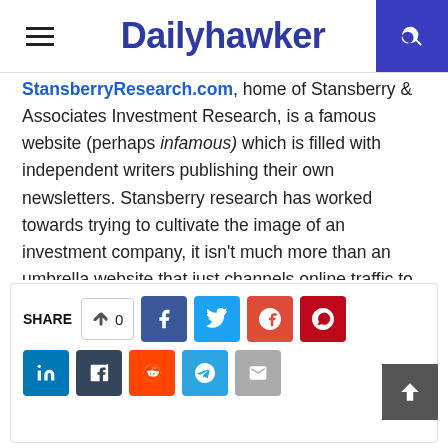Dailyhawker
StansberryResearch.com, home of Stansberry & Associates Investment Research, is a famous website (perhaps infamous) which is filled with independent writers publishing their own newsletters. Stansberry research has worked towards trying to cultivate the image of an investment company, it isn't much more than an umbrella website that just channels online traffic to a website and sells subscriptions for a variety of people who use them for publishing purposes. Let's find out more about Stansberry Research through this post. Read more about Stansberry Research